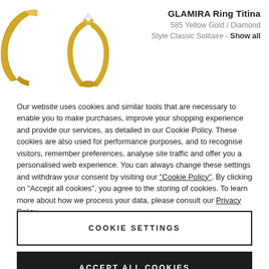[Figure (photo): Two gold ring images shown partially at top-left of the page. Left side shows a partial view of a yellow gold ring band, right side shows a yellow gold solitaire ring with a small diamond.]
GLAMIRA Ring Titina
585 Yellow Gold / Diamond
Style Classic Solitaire - Show all
Our website uses cookies and similar tools that are necessary to enable you to make purchases, improve your shopping experience and provide our services, as detailed in our Cookie Policy. These cookies are also used for performance purposes, and to recognise visitors, remember preferences, analyse site traffic and offer you a personalised web experience. You can always change these settings and withdraw your consent by visiting our “Cookie Policy”. By clicking on “Accept all cookies”, you agree to the storing of cookies. To learn more about how we process your data, please consult our Privacy Policy.
COOKIE SETTINGS
ACCEPT ALL COOKIES